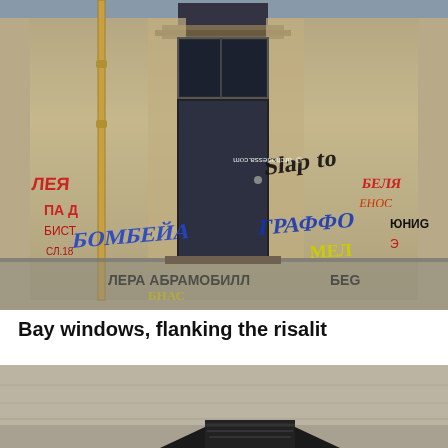[Figure (photo): Photograph of a weathered building facade with a dark metal door, covered in graffiti tags in various colors (blue, yellow, black, red). A yellow drainpipe is visible on the left. Watermark text 'archodessa.com' in bottom right corner.]
Bay windows, flanking the risalit
[Figure (photo): Partial photograph showing the upper portion of a building exterior with stone/concrete walls and a black roof or overhang structure visible at the bottom of the frame.]